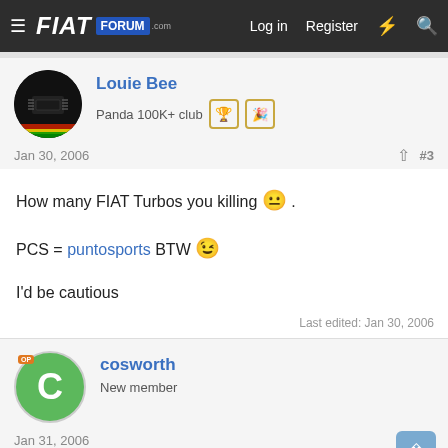FIAT FORUM — Log in  Register
Louie Bee
Panda 100K+ club
Jan 30, 2006  #3
How many FIAT Turbos you killing 😐 .

PCS = puntosports BTW 😉

I'd be cautious
Last edited: Jan 30, 2006
cosworth
New member
Jan 31, 2006  #4